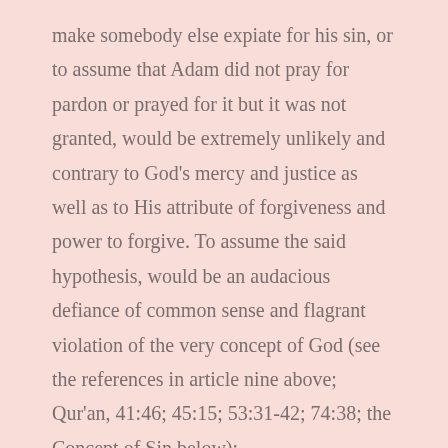make somebody else expiate for his sin, or to assume that Adam did not pray for pardon or prayed for it but it was not granted, would be extremely unlikely and contrary to God's mercy and justice as well as to His attribute of forgiveness and power to forgive. To assume the said hypothesis, would be an audacious defiance of common sense and flagrant violation of the very concept of God (see the references in article nine above; Qur'an, 41:46; 45:15; 53:31-42; 74:38; the Concept of Sin below):
On this rational basis as well as on the authority of the Qur'an, the Muslim believes that Adam realized what he had committed and prayed to